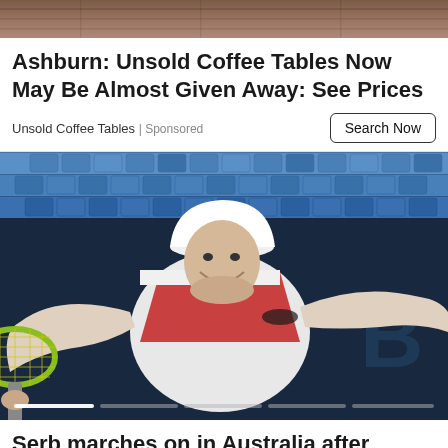[Figure (photo): Cropped top portion of an image, showing a wooden/brown surface background.]
Ashburn: Unsold Coffee Tables Now May Be Almost Given Away: See Prices
Unsold Coffee Tables | Sponsored
[Figure (photo): A tennis player wearing a white cap and orange/white tennis outfit, holding a racket and celebrating with arms spread wide. Blue stadium seats visible in the background. A carousel progress bar with 5 segments is at the bottom, with the first segment highlighted white.]
Serb marches on in Australia after vowing to avenge Djokovic